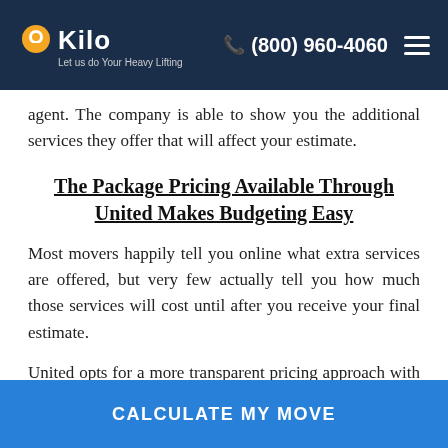Kilo — Let us do Your Heavy Lifting | (800) 960-4060
agent. The company is able to show you the additional services they offer that will affect your estimate.
The Package Pricing Available Through United Makes Budgeting Easy
Most movers happily tell you online what extra services are offered, but very few actually tell you how much those services will cost until after you receive your final estimate.
United opts for a more transparent pricing approach with its Straight Talk Advantage program. It outlines six service packages with a range of both moving services and…
CALCULATE MY MOVE